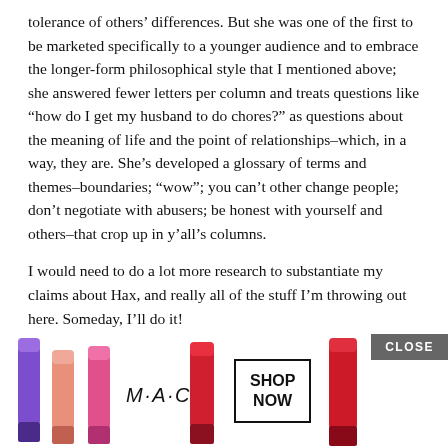tolerance of others’ differences. But she was one of the first to be marketed specifically to a younger audience and to embrace the longer-form philosophical style that I mentioned above; she answered fewer letters per column and treats questions like “how do I get my husband to do chores?” as questions about the meaning of life and the point of relationships–which, in a way, they are. She’s developed a glossary of terms and themes–boundaries; “wow”; you can’t other change people; don’t negotiate with abusers; be honest with yourself and others–that crop up in y’all’s columns.
I would need to do a lot more research to substantiate my claims about Hax, and really all of the stuff I’m throwing out here. Someday, I’ll do it!
Alison: Yeah, when Carolyn Hax started out, it [CLOSE] arketed as an ad [ad overlay] gline used to [ad overlay]
[Figure (other): MAC cosmetics advertisement overlay showing lipsticks in purple, pink, and red colors with MAC logo and SHOP NOW button, plus a CLOSE button]